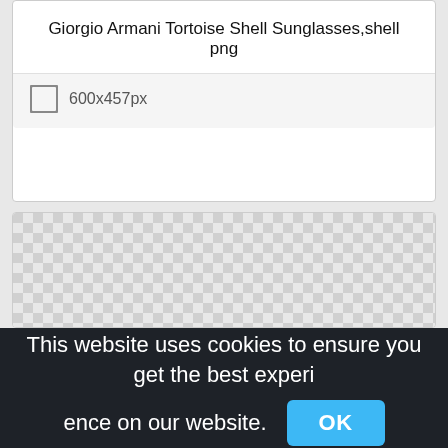Giorgio Armani Tortoise Shell Sunglasses,shell png
600x457px
[Figure (other): Transparent/checkerboard background area representing an image placeholder for Giorgio Armani Tortoise Shell Sunglasses]
This website uses cookies to ensure you get the best experience on our website.